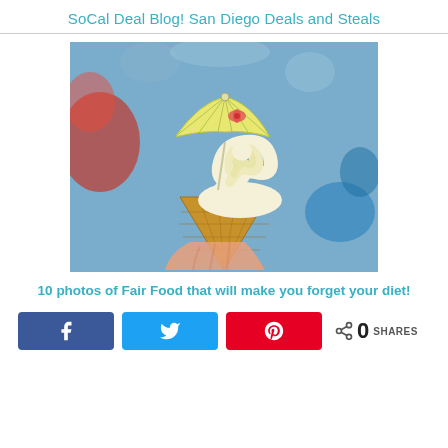SoCal Deal Blog! San Diego Deals and Steals
[Figure (photo): A hand holding a soft-serve ice cream cone with a small decorative paper cocktail umbrella inserted into the top, set against a blurred colorful background.]
10 photos of Fair Food that will make you forget your diet!
Share buttons: Facebook, Twitter, Pinterest. 0 SHARES